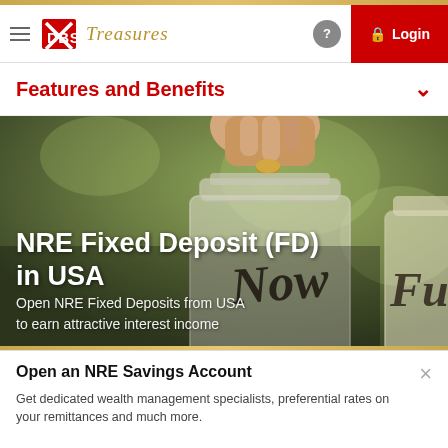[Figure (screenshot): DBS Treasures bank website screenshot showing navigation bar with hamburger menu, DBS Treasures logo, help button and red Login button]
Features and Benefits
[Figure (photo): Close-up photo of a hand dropping a coin into a glass jar labeled 'Now', with another jar labeled 'Fu' partially visible, set against a blurred green background]
NRE Fixed Deposit (FD) in USA
Open NRE Fixed Deposits from USA to earn attractive interest income
Open an NRE Savings Account
Get dedicated wealth management specialists, preferential rates on your remittances and much more.